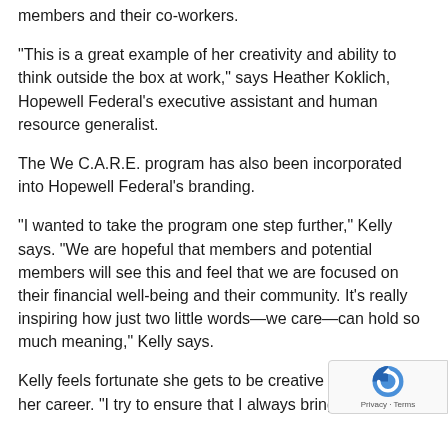members and their co-workers.
“This is a great example of her creativity and ability to think outside the box at work,” says Heather Koklich, Hopewell Federal’s executive assistant and human resource generalist.
The We C.A.R.E. program has also been incorporated into Hopewell Federal’s branding.
“I wanted to take the program one step further,” Kelly says. “We are hopeful that members and potential members will see this and feel that we are focused on their financial well-being and their community. It’s really inspiring how just two little words—we care—can hold so much meaning,” Kelly says.
Kelly feels fortunate she gets to be creative every d… her career. “I try to ensure that I always bring something…